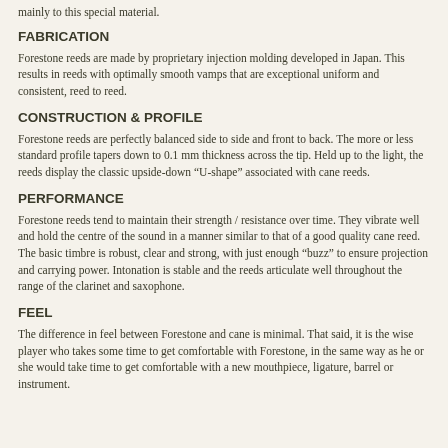mainly to this special material.
FABRICATION
Forestone reeds are made by proprietary injection molding developed in Japan.  This results in reeds with optimally smooth vamps that are exceptional uniform and consistent, reed to reed.
CONSTRUCTION & PROFILE
Forestone reeds are perfectly balanced side to side and front to back. The more or less standard profile tapers down to 0.1 mm thickness across the tip. Held up to the light, the reeds display the classic upside-down “U-shape” associated with cane reeds.
PERFORMANCE
Forestone reeds tend to maintain their strength / resistance over time. They vibrate well and hold the centre of the sound in a manner similar to that of a good quality cane reed. The basic timbre is robust, clear and strong, with just enough “buzz” to ensure projection and carrying power. Intonation is stable and the reeds articulate well throughout the range of the clarinet and saxophone.
FEEL
The difference in feel between Forestone and cane is minimal. That said, it is the wise player who takes some time to get comfortable with Forestone, in the same way as he or she would take time to get comfortable with a new mouthpiece, ligature, barrel or instrument.